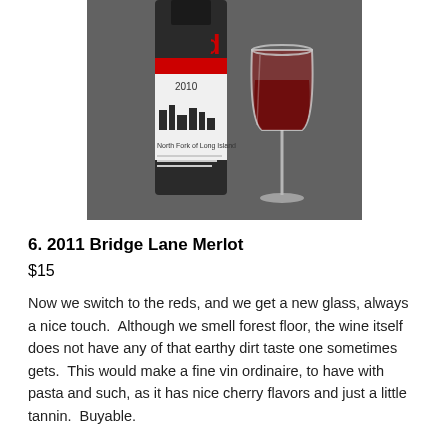[Figure (photo): A wine bottle labeled 'red 2010 North Fork of Long Island' next to a wine glass filled with red wine, on a dark surface.]
6. 2011 Bridge Lane Merlot
$15
Now we switch to the reds, and we get a new glass, always a nice touch.  Although we smell forest floor, the wine itself does not have any of that earthy dirt taste one sometimes gets.  This would make a fine vin ordinaire, to have with pasta and such, as it has nice cherry flavors and just a little tannin.  Buyable.